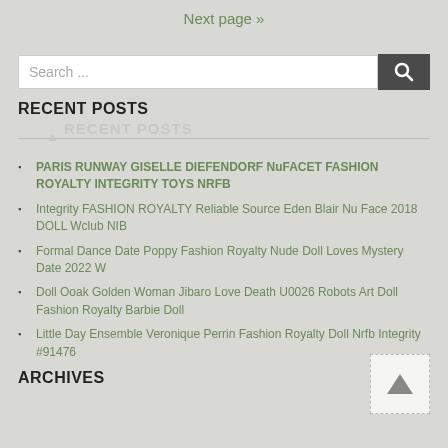Next page »
[Figure (other): Search bar with text input field showing 'Search ...' placeholder and a dark search button with magnifying glass icon]
RECENT POSTS
PARIS RUNWAY GISELLE DIEFENDORF NuFACET FASHION ROYALTY INTEGRITY TOYS NRFB
Integrity FASHION ROYALTY Reliable Source Eden Blair Nu Face 2018 DOLL Wclub NIB
Formal Dance Date Poppy Fashion Royalty Nude Doll Loves Mystery Date 2022 W
Doll Ooak Golden Woman Jibaro Love Death U0026 Robots Art Doll Fashion Royalty Barbie Doll
Little Day Ensemble Veronique Perrin Fashion Royalty Doll Nrfb Integrity #91476
ARCHIVES